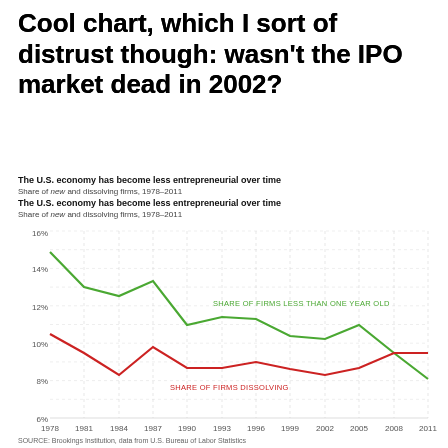Cool chart, which I sort of distrust though: wasn't the IPO market dead in 2002?
[Figure (line-chart): The U.S. economy has become less entrepreneurial over time]
SOURCE: Brookings Institution, data from U.S. Bureau of Labor Statistics